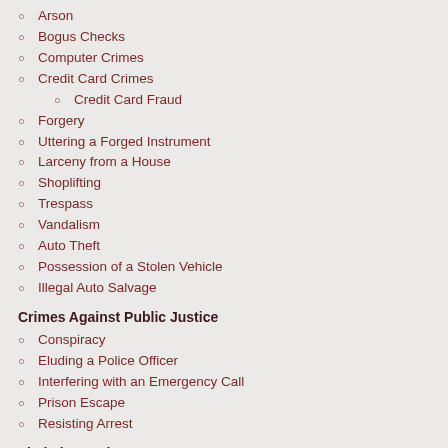Arson
Bogus Checks
Computer Crimes
Credit Card Crimes
Credit Card Fraud
Forgery
Uttering a Forged Instrument
Larceny from a House
Shoplifting
Trespass
Vandalism
Auto Theft
Possession of a Stolen Vehicle
Illegal Auto Salvage
Crimes Against Public Justice
Conspiracy
Eluding a Police Officer
Interfering with an Emergency Call
Prison Escape
Resisting Arrest
Victimless Crimes
Prostitution
Failure To Register As a Sex Offender
Steps in a Misdemeanor Case